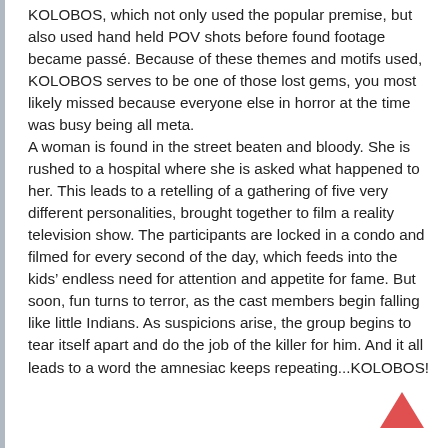KOLOBOS, which not only used the popular premise, but also used hand held POV shots before found footage became passé. Because of these themes and motifs used, KOLOBOS serves to be one of those lost gems, you most likely missed because everyone else in horror at the time was busy being all meta. A woman is found in the street beaten and bloody. She is rushed to a hospital where she is asked what happened to her. This leads to a retelling of a gathering of five very different personalities, brought together to film a reality television show. The participants are locked in a condo and filmed for every second of the day, which feeds into the kids' endless need for attention and appetite for fame. But soon, fun turns to terror, as the cast members begin falling like little Indians. As suspicions arise, the group begins to tear itself apart and do the job of the killer for him. And it all leads to a word the amnesiac keeps repeating...KOLOBOS!